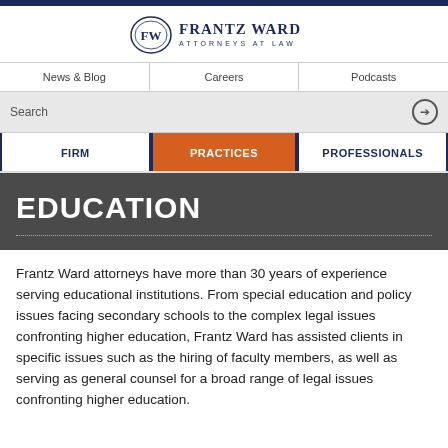[Figure (logo): Frantz Ward Attorneys at Law logo with FW emblem in circle on left and firm name text on right]
News & Blog | Careers | Podcasts
Search
FIRM | PRACTICES | PROFESSIONALS
EDUCATION
Frantz Ward attorneys have more than 30 years of experience serving educational institutions. From special education and policy issues facing secondary schools to the complex legal issues confronting higher education, Frantz Ward has assisted clients in specific issues such as the hiring of faculty members, as well as serving as general counsel for a broad range of legal issues confronting higher education.